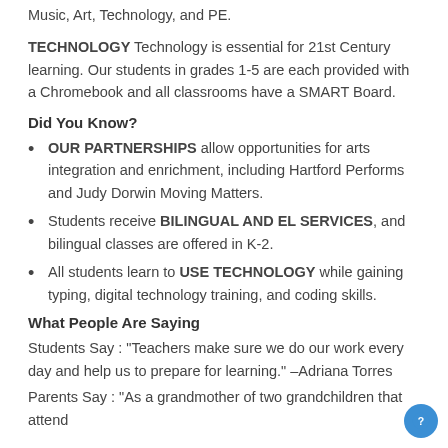Music, Art, Technology, and PE.
TECHNOLOGY Technology is essential for 21st Century learning. Our students in grades 1-5 are each provided with a Chromebook and all classrooms have a SMART Board.
Did You Know?
OUR PARTNERSHIPS allow opportunities for arts integration and enrichment, including Hartford Performs and Judy Dorwin Moving Matters.
Students receive BILINGUAL AND EL SERVICES, and bilingual classes are offered in K-2.
All students learn to USE TECHNOLOGY while gaining typing, digital technology training, and coding skills.
What People Are Saying
Students Say : "Teachers make sure we do our work every day and help us to prepare for learning." –Adriana Torres
Parents Say : "As a grandmother of two grandchildren that attend